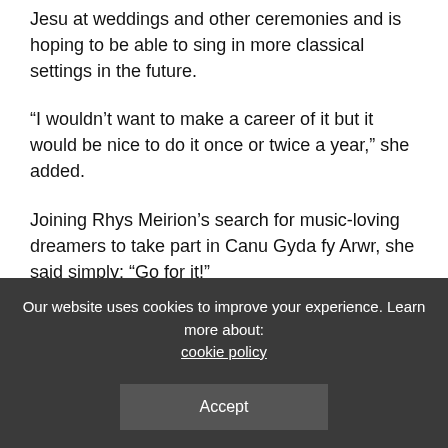Rachel is often asked to sing songs such as Ave Maria and Pie Jesu at weddings and other ceremonies and is hoping to be able to sing in more classical settings in the future.
“I wouldn’t want to make a career of it but it would be nice to do it once or twice a year,” she added.
Joining Rhys Meirion’s search for music-loving dreamers to take part in Canu Gyda fy Arwr, she said simply: “Go for it!”
Also urging would-be crooners to have a go is Welsh-speaking German Hendrik Robisch, 50, from Essen, who learned Welsh before a holiday visit to Wales five years ago.
The local government officer, who relaxes from his job handling
Our website uses cookies to improve your experience. Learn more about: cookie policy
Accept